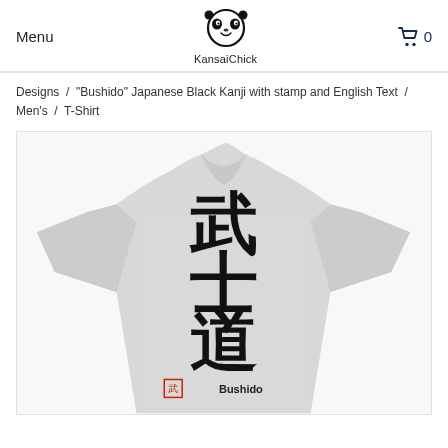Menu  KansaiChick  0
Designs / "Bushido" Japanese Black Kanji with stamp and English Text / Men's / T-Shirt
[Figure (photo): A light gray heather t-shirt displaying large black Japanese kanji characters 武士道 (Bushido) written vertically in brush calligraphy style, with a small red stamp and the English word 'Bushido' printed below the kanji.]